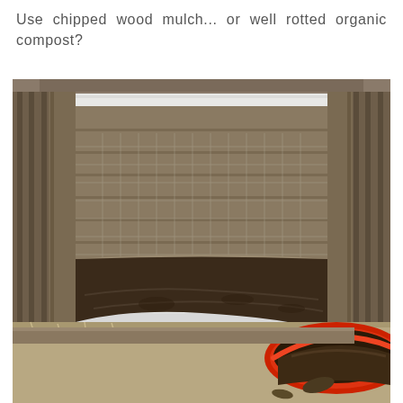Use chipped wood mulch... or well rotted organic compost?
[Figure (photo): A wooden compost bin with dark brown compost/soil inside, constructed from pallets and wooden boards against a white corrugated metal siding wall. In the foreground bottom-right is a red wheelbarrow filled with dark soil/compost. The ground around the bin shows dry grass and dirt.]